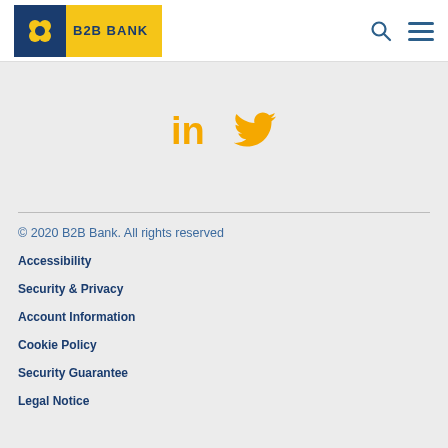[Figure (logo): B2B Bank logo: blue square with yellow flower icon on left, yellow background with B2B BANK text in blue on right]
[Figure (other): Search icon (magnifying glass) and hamburger menu icon in blue, top right of header]
[Figure (other): LinkedIn and Twitter social media icons in gold/amber color]
© 2020 B2B Bank. All rights reserved
Accessibility
Security & Privacy
Account Information
Cookie Policy
Security Guarantee
Legal Notice